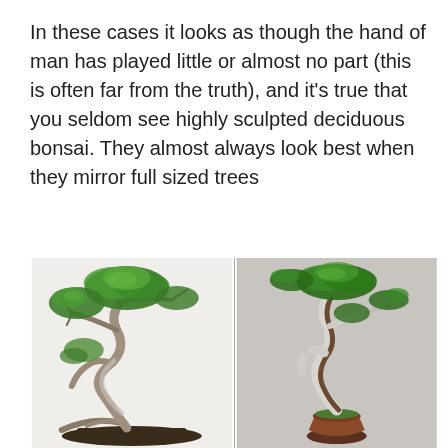In these cases it looks as though the hand of man has played little or almost no part (this is often far from the truth), and it's true that you seldom see highly sculpted deciduous bonsai. They almost always look best when they mirror full sized trees
[Figure (photo): Two bonsai trees side by side. Left: a bonsai with twisted driftwood-style trunk and lush green foliage, planted in a dark substrate. Right: a juniper-style bonsai with white jin/shari deadwood trunk and green foliage, planted in a clay pot.]